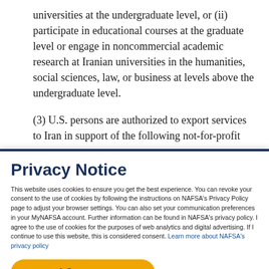universities at the undergraduate level, or (ii) participate in educational courses at the graduate level or engage in noncommercial academic research at Iranian universities in the humanities, social sciences, law, or business at levels above the undergraduate level.
(3) U.S. persons are authorized to export services to Iran in support of the following not-for-profit
Privacy Notice
This website uses cookies to ensure you get the best experience. You can revoke your consent to the use of cookies by following the instructions on NAFSA's Privacy Policy page to adjust your browser settings. You can also set your communication preferences in your MyNAFSA account. Further information can be found in NAFSA's privacy policy. I agree to the use of cookies for the purposes of web analytics and digital advertising. If I continue to use this website, this is considered consent. Learn more about NAFSA's privacy policy